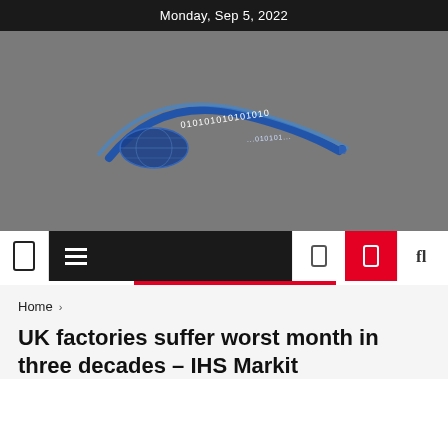Monday, Sep 5, 2022
[Figure (logo): Website logo with blue globe/arc shape and binary digits 010101010101010, text partially visible]
[Figure (screenshot): Navigation bar with hamburger menu, phone icon, red icon button, and search icon on dark and white background]
Home ›
UK factories suffer worst month in three decades – IHS Markit